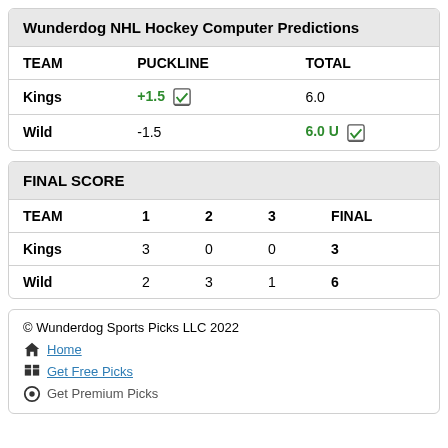Wunderdog NHL Hockey Computer Predictions
| TEAM | PUCKLINE | TOTAL |
| --- | --- | --- |
| Kings | +1.5 [check] | 6.0 |
| Wild | -1.5 | 6.0 U [check] |
| TEAM | 1 | 2 | 3 | FINAL |
| --- | --- | --- | --- | --- |
| Kings | 3 | 0 | 0 | 3 |
| Wild | 2 | 3 | 1 | 6 |
© Wunderdog Sports Picks LLC 2022
Home
Get Free Picks
Get Premium Picks